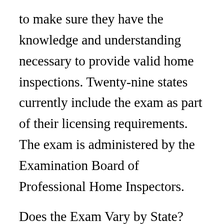to make sure they have the knowledge and understanding necessary to provide valid home inspections. Twenty-nine states currently include the exam as part of their licensing requirements. The exam is administered by the Examination Board of Professional Home Inspectors.
Does the Exam Vary by State?
For most states, you can register online or by phone with the test administrator, PSI, to take